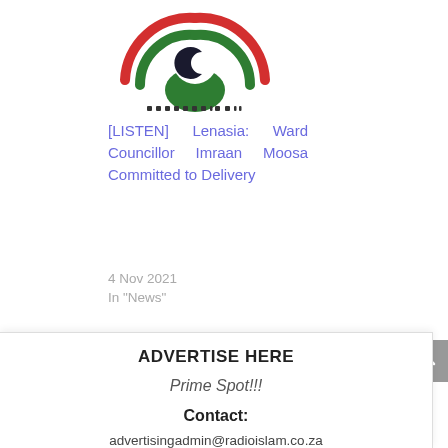[Figure (logo): Radio Islam logo — circular design with red, green, and white concentric arcs, crescent moon symbol, and decorative dots at the bottom]
[LISTEN] Lenasia: Ward Councillor Imraan Moosa Committed to Delivery
4 Nov 2021
In "News"
Community | News
[Figure (other): Scroll-to-top button (grey square with upward chevron arrow)]
ADVERTISE HERE
Prime Spot!!!
Contact:
advertisingadmin@radioislam.co.za